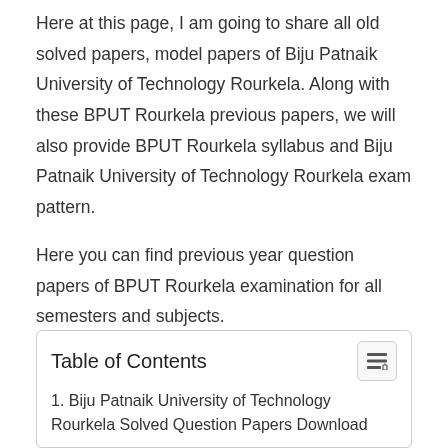Here at this page, I am going to share all old solved papers, model papers of Biju Patnaik University of Technology Rourkela. Along with these BPUT Rourkela previous papers, we will also provide BPUT Rourkela syllabus and Biju Patnaik University of Technology Rourkela exam pattern.
Here you can find previous year question papers of BPUT Rourkela examination for all semesters and subjects.
| Table of Contents |
| 1. Biju Patnaik University of Technology Rourkela Solved Question Papers Download |